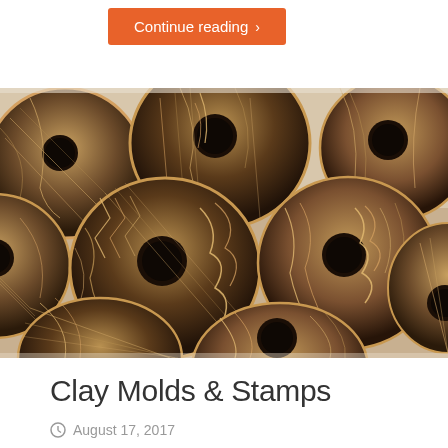Continue reading >
[Figure (photo): Close-up photograph of multiple decorative round coin-shaped clay discs with intricate engraved patterns including feathers, dragons, and geometric designs in dark bronze and gold tones, arranged overlapping on a white surface.]
Clay Molds & Stamps
August 17, 2017